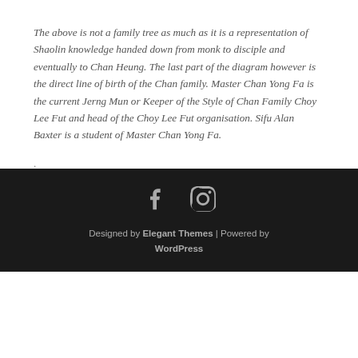The above is not a family tree as much as it is a representation of Shaolin knowledge handed down from monk to disciple and eventually to Chan Heung. The last part of the diagram however is the direct line of birth of the Chan family. Master Chan Yong Fa is the current Jerng Mun or Keeper of the Style of Chan Family Choy Lee Fut and head of the Choy Lee Fut organisation. Sifu Alan Baxter is a student of Master Chan Yong Fa.
Designed by Elegant Themes | Powered by WordPress